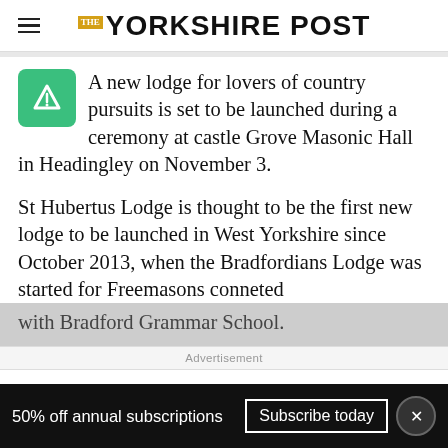THE YORKSHIRE POST
A new lodge for lovers of country pursuits is set to be launched during a ceremony at castle Grove Masonic Hall in Headingley on November 3.
St Hubertus Lodge is thought to be the first new lodge to be launched in West Yorkshire since October 2013, when the Bradfordians Lodge was started for Freemasons conneted with Bradford Grammar School.
Advertisement
50% off annual subscriptions   Subscribe today